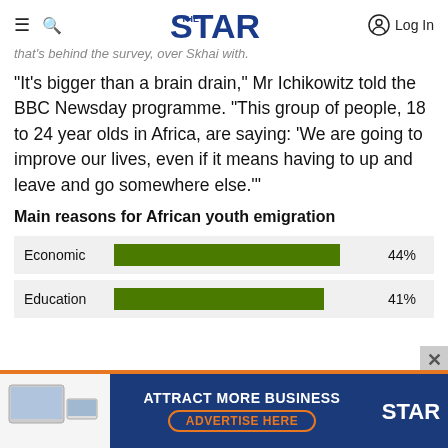The Star — navigation header with hamburger menu, search icon, The Star logo, and Log In button
that's behind the survey, over Skhai with.
"It's bigger than a brain drain," Mr Ichikowitz told the BBC Newsday programme. "This group of people, 18 to 24 year olds in Africa, are saying: 'We are going to improve our lives, even if it means having to up and leave and go somewhere else.'"
[Figure (bar-chart): Main reasons for African youth emigration]
[Figure (screenshot): Advertisement banner: ATTRACT MORE BUSINESS / ADVERTISE HERE — The Star]